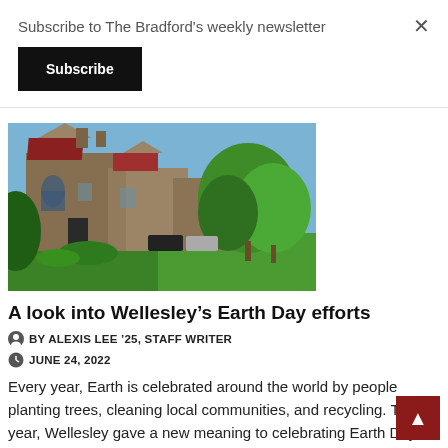Subscribe to The Bradford's weekly newsletter
Subscribe
[Figure (photo): Exterior photo of a stone Gothic-style college building with green lawn and trees in the foreground, blue sky, and cars parked nearby.]
A look into Wellesley's Earth Day efforts
BY ALEXIS LEE '25, STAFF WRITER
JUNE 24, 2022
Every year, Earth is celebrated around the world by people planting trees, cleaning local communities, and recycling. This year, Wellesley gave a new meaning to celebrating Earth Day with [...]